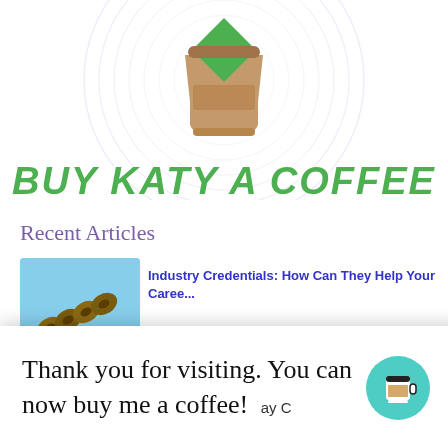[Figure (logo): Buy Katy A Coffee logo with coffee cup illustration and circular swirl background]
BUY KATY A COFFEE
Recent Articles
[Figure (photo): Thumbnail image for Industry Credentials article - wooden tokens on blue background]
Industry Credentials: How Can They Help Your Caree...
[Figure (photo): Thumbnail image for SVGs article - electrical outlet on light blue background]
Why You Should Use SVGs On Your Website?
Thank you for visiting. You can now buy me a coffee!
[Figure (illustration): Teal circular button with coffee cup icon (buy me a coffee widget)]